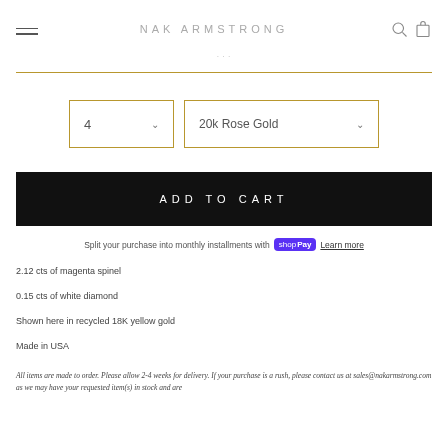NAK ARMSTRONG
...
[Figure (screenshot): Product page UI: size selector showing '4' and material selector showing '20k Rose Gold', both with gold borders and dropdown chevrons]
ADD TO CART
Split your purchase into monthly installments with Shop Pay  Learn more
2.12 cts of magenta spinel
0.15 cts of white diamond
Shown here in recycled 18K yellow gold
Made in USA
All items are made to order.  Please allow 2-4 weeks for delivery.  If your purchase is a rush, please contact us at sales@nakarmstrong.com as we may have your requested item(s) in stock and are